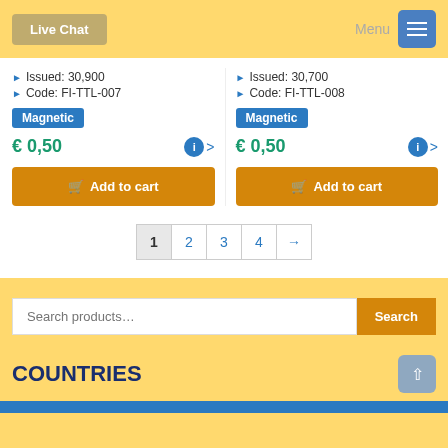Live Chat   Menu
Issued: 30,900 | Code: FI-TTL-007 | Magnetic | € 0,50 | Add to cart
Issued: 30,700 | Code: FI-TTL-008 | Magnetic | € 0,50 | Add to cart
Pagination: 1 2 3 4 →
Search products…
COUNTRIES